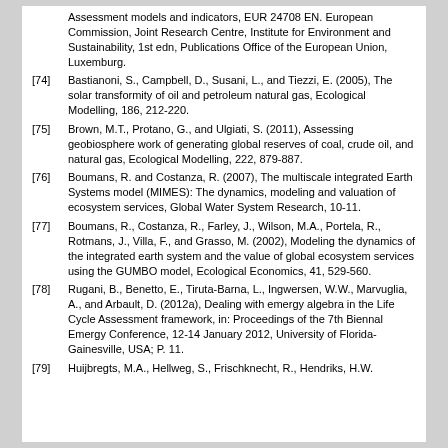Assessment models and indicators, EUR 24708 EN. European Commission, Joint Research Centre, Institute for Environment and Sustainability, 1st edn, Publications Office of the European Union, Luxemburg.
[74] Bastianoni, S., Campbell, D., Susani, L., and Tiezzi, E. (2005), The solar transformity of oil and petroleum natural gas, Ecological Modelling, 186, 212-220.
[75] Brown, M.T., Protano, G., and Ulgiati, S. (2011), Assessing geobiosphere work of generating global reserves of coal, crude oil, and natural gas, Ecological Modelling, 222, 879-887.
[76] Boumans, R. and Costanza, R. (2007), The multiscale integrated Earth Systems model (MIMES): The dynamics, modeling and valuation of ecosystem services, Global Water System Research, 10-11.
[77] Boumans, R., Costanza, R., Farley, J., Wilson, M.A., Portela, R., Rotmans, J., Villa, F., and Grasso, M. (2002), Modeling the dynamics of the integrated earth system and the value of global ecosystem services using the GUMBO model, Ecological Economics, 41, 529-560.
[78] Rugani, B., Benetto, E., Tiruta-Barna, L., Ingwersen, W.W., Marvuglia, A., and Arbault, D. (2012a), Dealing with emergy algebra in the Life Cycle Assessment framework, in: Proceedings of the 7th Biennal Emergy Conference, 12-14 January 2012, University of Florida-Gainesville, USA; P. 11.
[79] Huijbregts, M.A., Hellweg, S., Frischknecht, R., Hendriks, H.W.